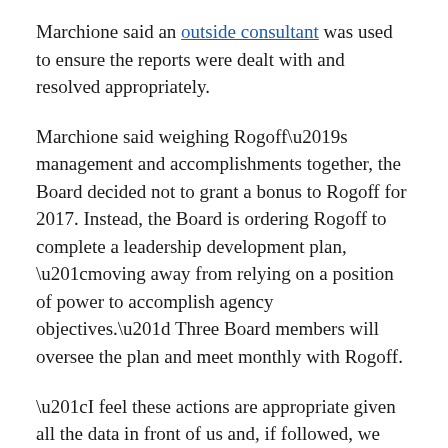Marchione said an outside consultant was used to ensure the reports were dealt with and resolved appropriately.
Marchione said weighing Rogoff’s management and accomplishments together, the Board decided not to grant a bonus to Rogoff for 2017. Instead, the Board is ordering Rogoff to complete a leadership development plan, “moving away from relying on a position of power to accomplish agency objectives.” Three Board members will oversee the plan and meet monthly with Rogoff.
“I feel these actions are appropriate given all the data in front of us and, if followed, we will have improved management by the CEO,” Marchione said.